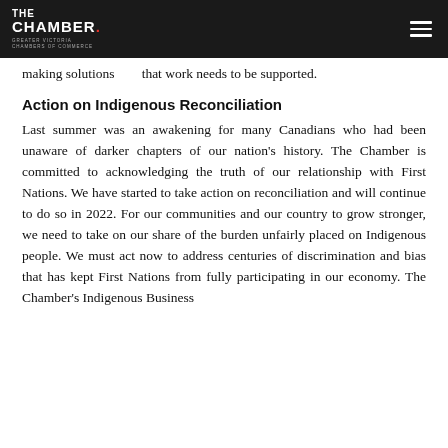THE CHAMBER. GREATER VICTORIA CHAMBERS OF COMMERCE
making solutions that work needs to be supported.
Action on Indigenous Reconciliation
Last summer was an awakening for many Canadians who had been unaware of darker chapters of our nation's history. The Chamber is committed to acknowledging the truth of our relationship with First Nations. We have started to take action on reconciliation and will continue to do so in 2022. For our communities and our country to grow stronger, we need to take on our share of the burden unfairly placed on Indigenous people. We must act now to address centuries of discrimination and bias that has kept First Nations from fully participating in our economy. The Chamber's Indigenous Business